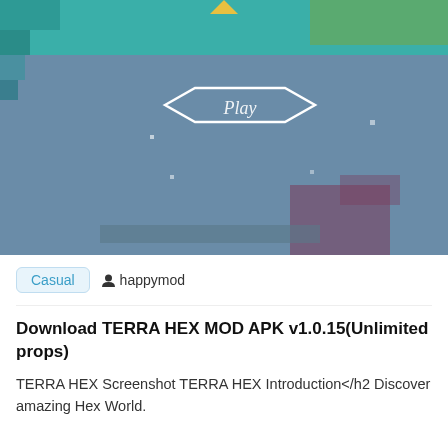[Figure (screenshot): Screenshot of TERRA HEX game showing a teal/blue-grey hexagonal game board with a hexagonal 'Play' button in the center outlined in white, with pixel art style blocks in teal and green colors at the top.]
Casual   happymod
Download TERRA HEX MOD APK v1.0.15(Unlimited props)
TERRA HEX Screenshot TERRA HEX Introduction</h2 Discover amazing Hex World.